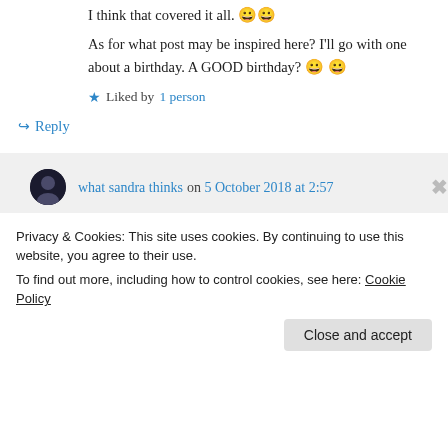I think that covered it all. 😀😀
As for what post may be inspired here? I'll go with one about a birthday. A GOOD birthday? 😀😀
★ Liked by 1 person
↪ Reply
what sandra thinks on 5 October 2018 at 2:57
Privacy & Cookies: This site uses cookies. By continuing to use this website, you agree to their use.
To find out more, including how to control cookies, see here: Cookie Policy